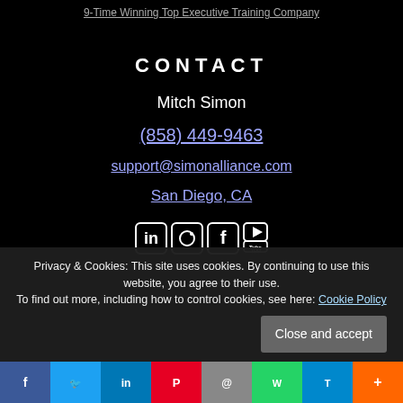9-Time Winning Top Executive Training Company
CONTACT
Mitch Simon
(858) 449-9463
support@simonalliance.com
San Diego, CA
[Figure (infographic): Social media icons: LinkedIn, Instagram, Facebook, YouTube]
Privacy & Cookies: This site uses cookies. By continuing to use this website, you agree to their use.
To find out more, including how to control cookies, see here: Cookie Policy
Close and accept
Social share bar with Facebook, Twitter, LinkedIn, Pinterest, Email, WhatsApp, Telegram icons